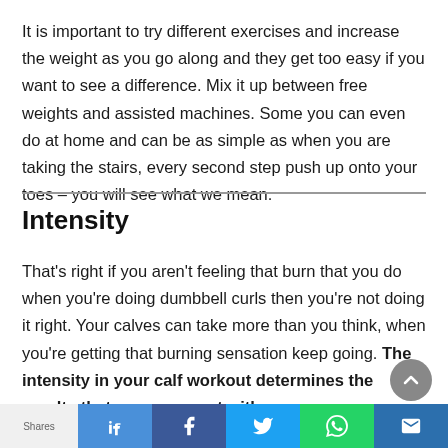It is important to try different exercises and increase the weight as you go along and they get too easy if you want to see a difference. Mix it up between free weights and assisted machines. Some you can even do at home and can be as simple as when you are taking the stairs, every second step push up onto your toes – you will see what we mean.
Intensity
That's right if you aren't feeling that burn that you do when you're doing dumbbell curls then you're not doing it right. Your calves can take more than you think, when you're getting that burning sensation keep going. The intensity in your calf workout determines the results that you come out with.
[Figure (other): Social sharing footer bar with thumbs-up, Facebook, Twitter, WhatsApp, and envelope icons on colored backgrounds. A circular scroll-to-top button appears above the bar.]